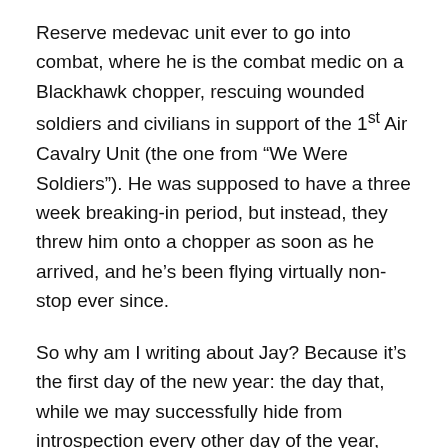Reserve medevac unit ever to go into combat, where he is the combat medic on a Blackhawk chopper, rescuing wounded soldiers and civilians in support of the 1st Air Cavalry Unit (the one from “We Were Soldiers”). He was supposed to have a three week breaking-in period, but instead, they threw him onto a chopper as soon as he arrived, and he’s been flying virtually non-stop ever since.
So why am I writing about Jay? Because it’s the first day of the new year: the day that, while we may successfully hide from introspection every other day of the year, forces us, by immersion, peer pressure, natural progression or the need to buy a new desk calendar, to look back on what we accomplished in the previous year, and what we’ll do with our lives in the year, and years, to come.
This new beginning (as if every other day of the year can’t